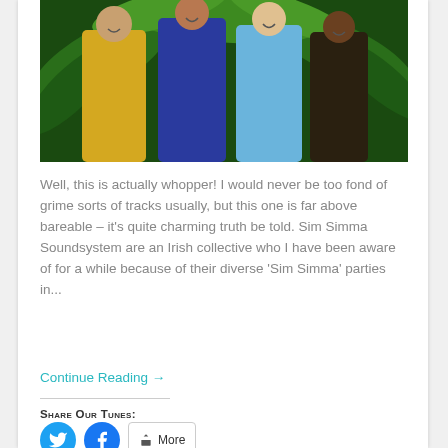[Figure (photo): Four people laughing together in front of tropical green foliage. From left: person in yellow sweater, person in blue top, person in light blue jacket, person in dark top.]
Well, this is actually whopper! I would never be too fond of grime sorts of tracks usually, but this one is far above bareable – it's quite charming truth be told. Sim Simma Soundsystem are an Irish collective who I have been aware of for a while because of their diverse 'Sim Simma' parties in...
Continue Reading →
Share Our Tunes: